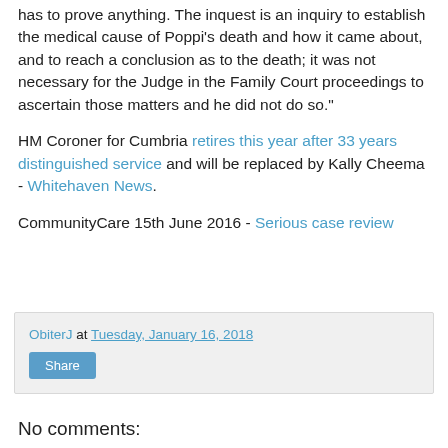has to prove anything. The inquest is an inquiry to establish the medical cause of Poppi's death and how it came about, and to reach a conclusion as to the death; it was not necessary for the Judge in the Family Court proceedings to ascertain those matters and he did not do so."
HM Coroner for Cumbria retires this year after 33 years distinguished service and will be replaced by Kally Cheema - Whitehaven News.
CommunityCare 15th June 2016 - Serious case review
ObiterJ at Tuesday, January 16, 2018
Share
No comments: